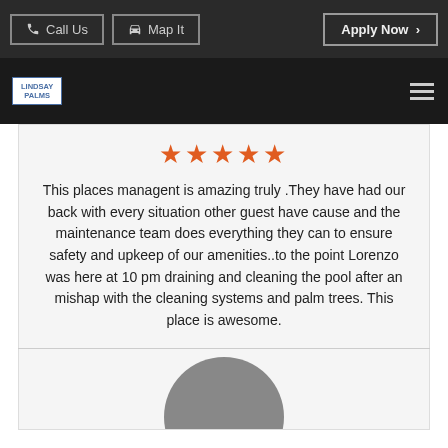Call Us  Map It  Apply Now >
[Figure (logo): Lindsay Palms logo in blue text on white background with blue border]
★★★★★
This places managent is amazing truly .They have had our back with every situation other guest have cause and the maintenance team does everything they can to ensure safety and upkeep of our amenities..to the point Lorenzo was here at 10 pm draining and cleaning the pool after an mishap with the cleaning systems and palm trees. This place is awesome.
[Figure (photo): Gray circular avatar/profile picture placeholder]